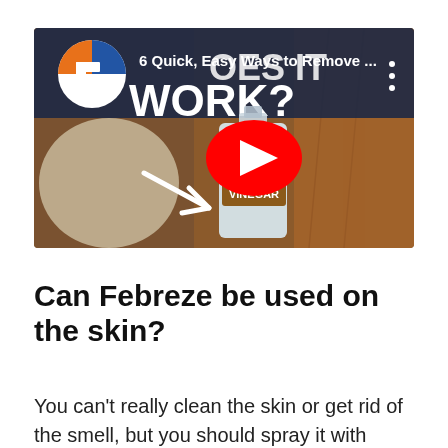[Figure (screenshot): YouTube video thumbnail showing a leather couch with a bottle of White Vinegar and the text 'Does It Work?' and 'WORK?' overlaid. Channel logo visible top-left. Title reads '6 Quick, Easy Ways to Remove ...' with a red YouTube play button in the center.]
Can Febreze be used on the skin?
You can't really clean the skin or get rid of the smell, but you should spray it with Febreze